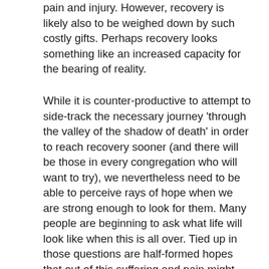pain and injury. However, recovery is likely also to be weighed down by such costly gifts. Perhaps recovery looks something like an increased capacity for the bearing of reality.
While it is counter-productive to attempt to side-track the necessary journey 'through the valley of the shadow of death' in order to reach recovery sooner (and there will be those in every congregation who will want to try), we nevertheless need to be able to perceive rays of hope when we are strong enough to look for them. Many people are beginning to ask what life will look like when this is all over. Tied up in those questions are half-formed hopes that out of this suffering and pain might come new patterns of life that, for example, value the earth, promote justice or support relationship better than the old patterns. It is almost certainly too soon to be putting flesh on such hopes, or prescribing directions for their fulfillment, but it is not too soon to be open-minded…